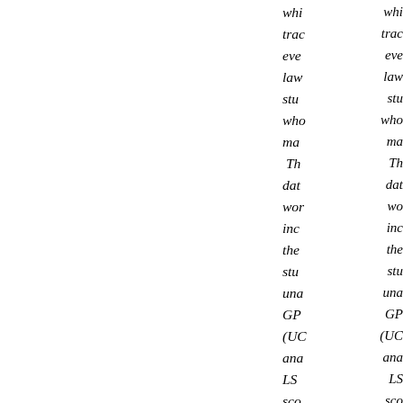whi... trac... eve... law... stu... who... ma... Th... dat... wo... inc... the... stu... una... GP... (UC... ana... LS... sco... Th... dat... wo... trac... ...